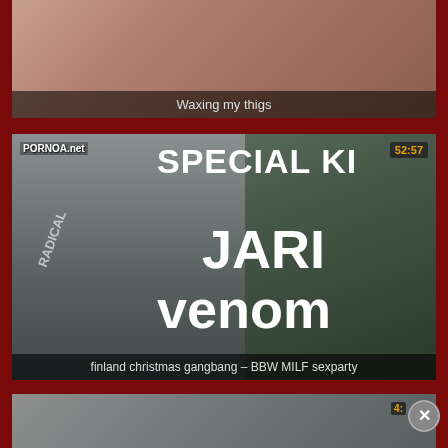[Figure (screenshot): Top video thumbnail showing partial image with dark overlay]
Waxing my thigs
[Figure (screenshot): Main video thumbnail for adult video site PORNOA.net showing person with text overlay: SPECIAL KI... JARI venom, duration 52:57]
finland christmas gangbang – BBW MILF sexparty
[Figure (screenshot): Bottom video thumbnail partially visible with close button and partial duration timer]